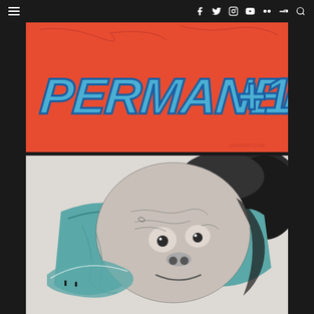Navigation bar with hamburger menu and social media icons (Facebook, Twitter, Instagram, YouTube, Flickr, SoundCloud, Search)
[Figure (illustration): Orange/red background with large blue bubble-letter graffiti text reading 'PERMANENT+1' with white outline, decorative psychedelic lettering style, small website URL in bottom right corner]
[Figure (illustration): Black and white and teal artistic double-exposure style illustration showing a chimpanzee/monkey face merged with an ocean wave scene, surrealist art style with detailed etching-like textures]